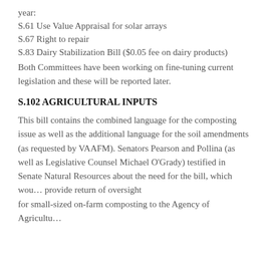year:
S.61 Use Value Appraisal for solar arrays
S.67 Right to repair
S.83 Dairy Stabilization Bill ($0.05 fee on dairy products)
Both Committees have been working on fine-tuning current legislation and these will be reported later.
S.102 AGRICULTURAL INPUTS
This bill contains the combined language for the composting issue as well as the additional language for the soil amendments (as requested by VAAFM). Senators Pearson and Pollina (as well as Legislative Counsel Michael O'Grady) testified in Senate Natural Resources about the need for the bill, which wou… provide return of oversight for small-sized on-farm composting to the Agency of Agricultu…